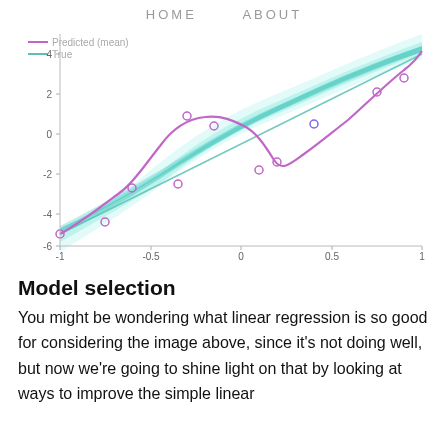HOME   ABOUT
[Figure (continuous-plot): Scatter plot with a linear true line (teal/cyan shaded confidence band) and a predicted (mean) sinusoidal curve in magenta/purple. X-axis ranges from -1 to 1, Y-axis from approximately -6 to 4. Points are small open circles. Legend shows 'Predicted (mean)' in purple and 'True' in teal.]
Model selection
You might be wondering what linear regression is so good for considering the image above, since it’s not doing well, but now we’re going to shine light on that by looking at ways to improve the simple linear